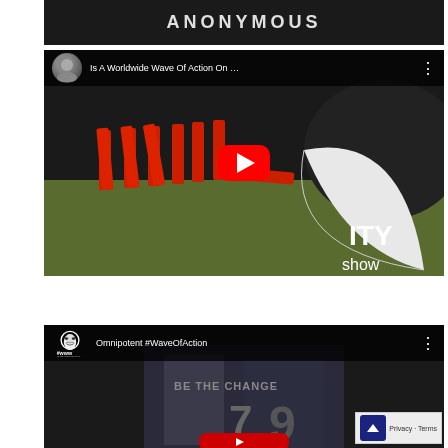[Figure (screenshot): Partial YouTube video thumbnail showing 'ANONYMOUS' text in white on dark background (cropped at top)]
[Figure (screenshot): YouTube video embed: 'Is A Worldwide Wave Of Action On ...' with YouTube play button overlay, showing dominos scene with red pieces falling and page-curl effect with 'RITY show' text]
[Figure (screenshot): YouTube video embed: 'Omnipotent #WaveOfAction' with Anonymous logo (#www) and 'BE THE CHANGE' text, showing street scene with numbers, and Privacy/Terms overlay in bottom right corner]